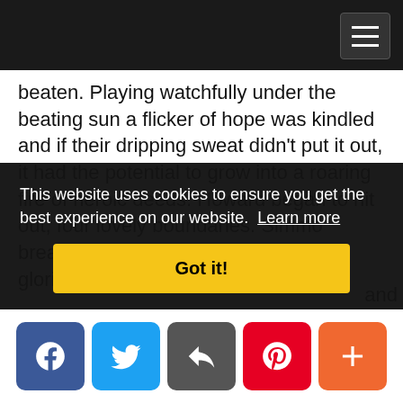Navigation bar with hamburger menu
beaten. Playing watchfully under the beating sun a flicker of hope was kindled and if their dripping sweat didn't put it out, it had the potential to grow into a roaring fire of heroic deeds. Howard began to hit out, four lovely boundaries. Simmo breathed deeply, remembering past glories and believed.
Kevin Crawford of Islip deserves a mention here. He bowled 16 miserly overs of metronomic line and length taking four wickets at an economy rate of just ...and ...ay ...the ...d ...105
This website uses cookies to ensure you get the best experience on our website. Learn more
Got it!
[Figure (other): Social media share buttons: Facebook, Twitter, Email/Share, Pinterest, Plus]